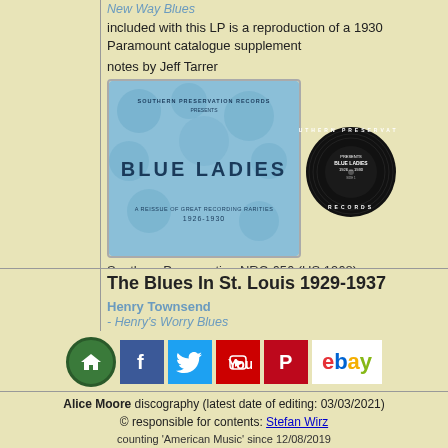New Way Blues
included with this LP is a reproduction of a 1930 Paramount catalogue supplement
notes by Jeff Tarrer
[Figure (photo): Album cover for 'Blue Ladies - A Reissue of Great Recording Rarities 1926-1930' on Southern Preservation Records, shown with vinyl record disc]
Southern Preservation NRC-656 (US 1968)
The Blues In St. Louis 1929-1937
Henry Townsend
- Henry's Worry Blues
Kokomo Arnold
- Set Down Gal
Barrel House Buck
[Figure (infographic): Social media icons: home, Facebook, Twitter, YouTube, Pinterest, eBay]
Alice Moore discography (latest date of editing: 03/03/2021)
© responsible for contents: Stefan Wirz
counting 'American Music' since 12/08/2019